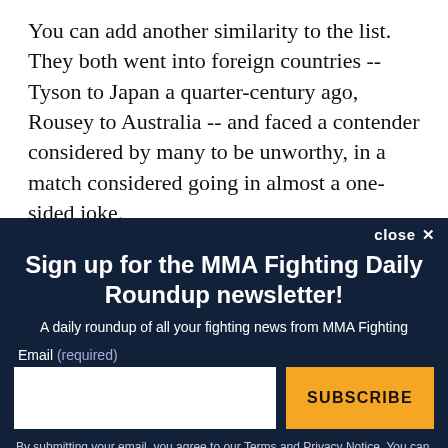You can add another similarity to the list. They both went into foreign countries -- Tyson to Japan a quarter-century ago, Rousey to Australia -- and faced a contender considered by many to be unworthy, in a match considered going in almost a one-sided joke.
The term Buster Douglas became a part of pop culture on
Sign up for the MMA Fighting Daily Roundup newsletter!
A daily roundup of all your fighting news from MMA Fighting
Email (required)
SUBSCRIBE
By submitting your email, you agree to our Terms and Privacy Notice. You can opt out at any time. This site is protected by reCAPTCHA and the Google Privacy Policy and Terms of Service apply.